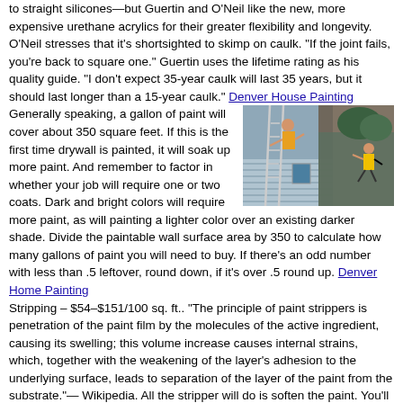to straight silicones—but Guertin and O'Neil like the new, more expensive urethane acrylics for their greater flexibility and longevity. O'Neil stresses that it's shortsighted to skimp on caulk. "If the joint fails, you're back to square one." Guertin uses the lifetime rating as his quality guide. "I don't expect 35-year caulk will last 35 years, but it should last longer than a 15-year caulk." Denver House Painting Generally speaking, a gallon of paint will cover about 350 square feet. If this is the first time drywall is painted, it will soak up more paint. And remember to factor in whether your job will require one or two coats. Dark and bright colors will require more paint, as will painting a lighter color over an existing darker shade. Divide the paintable wall surface area by 350 to calculate how many gallons of paint you will need to buy. If there's an odd number with less than .5 leftover, round down, if it's over .5 round up. Denver Home Painting Stripping – $54–$151/100 sq. ft.. "The principle of paint strippers is penetration of the paint film by the molecules of the active ingredient, causing its swelling; this volume increase causes internal strains, which, together with the weakening of the layer's adhesion to the underlying surface, leads to separation of the layer of the paint from the substrate."— Wikipedia. All the stripper will do is soften the paint. You'll still have to scrub or scrape it off. House Painting Denver Colorado
[Figure (photo): Two overlapping photos showing house painting scenes: workers painting the exterior of a house.]